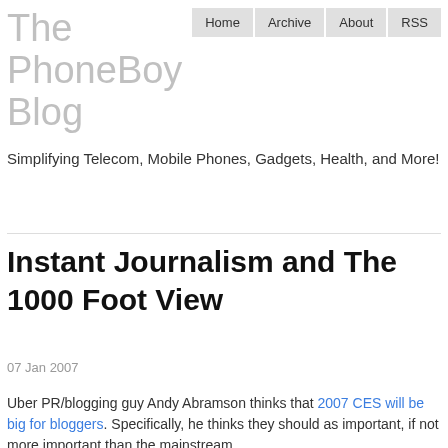The PhoneBoy Blog
Home | Archive | About | RSS
Simplifying Telecom, Mobile Phones, Gadgets, Health, and More!
Instant Journalism and The 1000 Foot View
07 Jan 2007
Uber PR/blogging guy Andy Abramson thinks that 2007 CES will be big for bloggers. Specifically, he thinks they should as important, if not more important than the mainstream